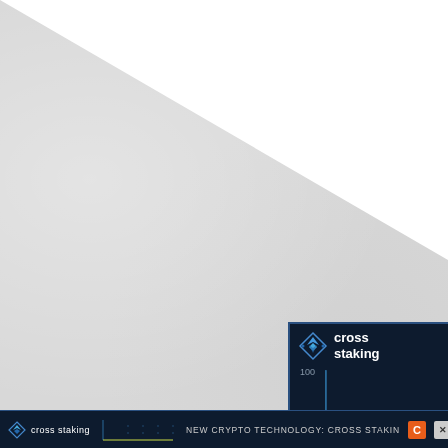[Figure (photo): Light gray textured paper background with white diagonal triangular region in the upper right corner]
[Figure (screenshot): Popup advertisement for 'cross staking' crypto platform on dark navy background, showing a line chart with value 100 labeled, brand logo with diamond/arrow icon, orange C coin badge, close X button, and bold white text reading 'NEW CRYPTO TECHNOLOG']
[Figure (screenshot): Bottom browser bar advertisement for 'cross staking' showing logo, mini line chart, text 'NEW CRYPTO TECHNOLOGY: CROSS STAKIN' with orange C badge and close X button on dark navy background]